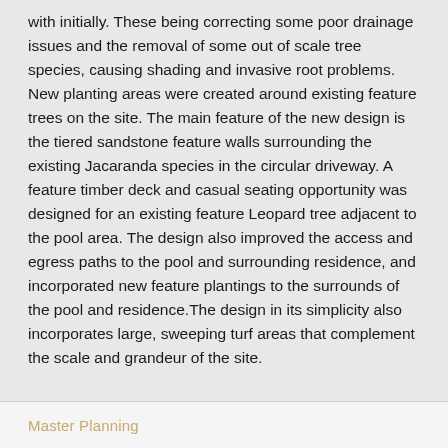with initially. These being correcting some poor drainage issues and the removal of some out of scale tree species, causing shading and invasive root problems. New planting areas were created around existing feature trees on the site. The main feature of the new design is the tiered sandstone feature walls surrounding the existing Jacaranda species in the circular driveway. A feature timber deck and casual seating opportunity was designed for an existing feature Leopard tree adjacent to the pool area. The design also improved the access and egress paths to the pool and surrounding residence, and incorporated new feature plantings to the surrounds of the pool and residence.The design in its simplicity also incorporates large, sweeping turf areas that complement the scale and grandeur of the site.
Master Planning